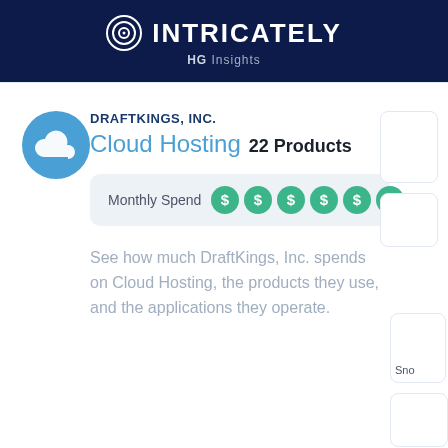[Figure (logo): Intricately HG Insights logo — circular target icon with INTRICATELY text and HG Insights subtitle on dark navy background]
DRAFTKINGS, INC.
Cloud Hosting 22 Products
Monthly Spend
See how much DraftKings, Inc. spends on Cloud Hosting, the products they use, and the applications they operate.